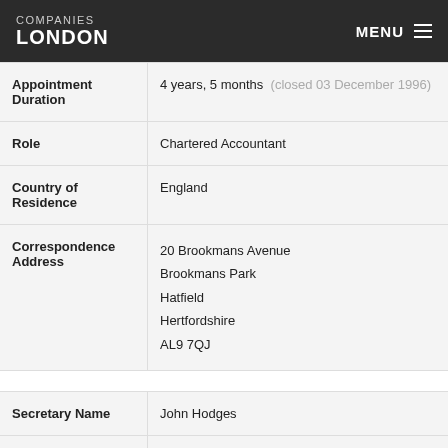COMPANIES LONDON   MENU
| Field | Value |
| --- | --- |
| Appointment Duration | 4 years, 5 months  (closed 03 December 1996) |
| Role | Chartered Accountant |
| Country of Residence | England |
| Correspondence Address | 20 Brookmans Avenue
Brookmans Park
Hatfield
Hertfordshire
AL9 7QJ |
| Secretary Name | John Hodges |